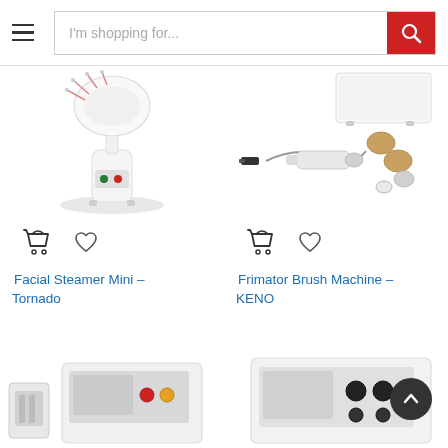I'm shopping for...
[Figure (photo): Facial steamer mini machine (white, mushroom-shaped) with green and red buttons]
[Figure (photo): Frimator brush machine set with white box unit and handheld brush tool with attachments]
Facial Steamer Mini – Tornado
Frimator Brush Machine – KENO
[Figure (photo): Partial view of a medical/beauty device with control panel (bottom left)]
[Figure (photo): Partial view of a medical/beauty device with black knobs (bottom right)]